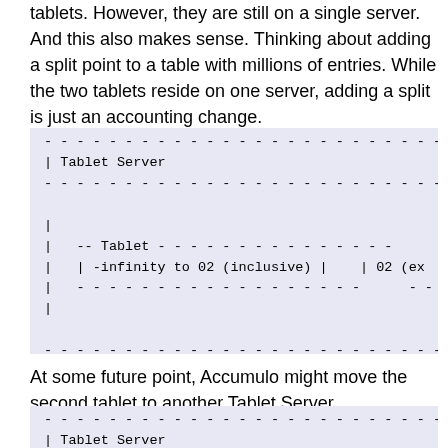tablets. However, they are still on a single server. And this also makes sense. Thinking about adding a split point to a table with millions of entries. While the two tablets reside on one server, adding a split is just an accounting change.
[Figure (schematic): ASCII diagram showing a Tablet Server containing two tablets: one covering -infinity to 02 (inclusive) and another starting from 02 (exclusive), both on the same server.]
At some future point, Accumulo might move the second tablet to another Tablet Server.
[Figure (schematic): ASCII diagram showing the beginning of two separate Tablet Servers side by side, with the split tablet moved to another server.]